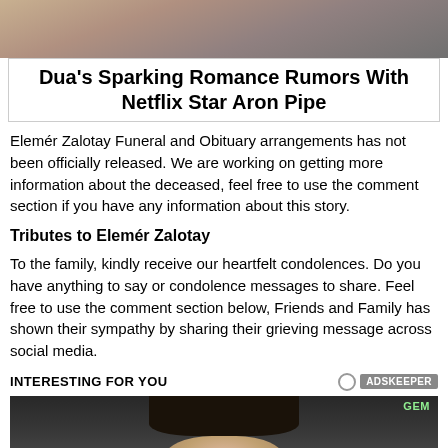[Figure (photo): Cropped photo at top of page showing two people, partially visible]
Dua's Sparking Romance Rumors With Netflix Star Aron Pipe
Elemér Zalotay Funeral and Obituary arrangements has not been officially released. We are working on getting more information about the deceased, feel free to use the comment section if you have any information about this story.
Tributes to Elemér Zalotay
To the family, kindly receive our heartfelt condolences. Do you have anything to say or condolence messages to share. Feel free to use the comment section below, Friends and Family has shown their sympathy by sharing their grieving message across social media.
INTERESTING FOR YOU
[Figure (photo): Photo of a woman with dark hair, partially visible at bottom of page]